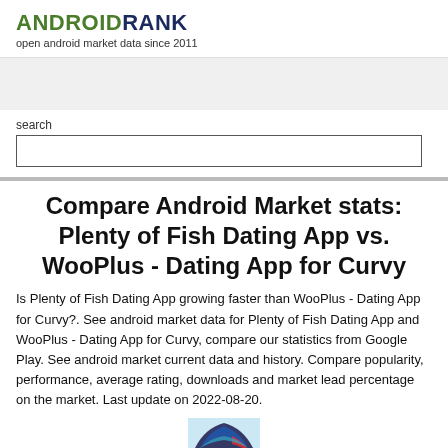ANDROIDRANK
open android market data since 2011
search
Compare Android Market stats: Plenty of Fish Dating App vs. WooPlus - Dating App for Curvy
Is Plenty of Fish Dating App growing faster than WooPlus - Dating App for Curvy?. See android market data for Plenty of Fish Dating App and WooPlus - Dating App for Curvy, compare our statistics from Google Play. See android market current data and history. Compare popularity, performance, average rating, downloads and market lead percentage on the market. Last update on 2022-08-20.
[Figure (logo): App icon partially visible at bottom of page]